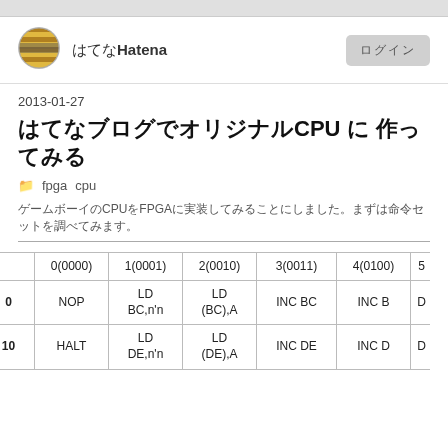[Figure (logo): Hatena logo circle with striped pattern]
はてなHatena
ログイン
2013-01-27
はてなブログでオリジナルCPU を 作ってみる
fpga  cpu
ゲームボーイのCPUをFPGAに実装してみることにしました。まずは命令セットを調べてみます。
|  | 0(0000) | 1(0001) | 2(0010) | 3(0011) | 4(0100) | 5 |
| --- | --- | --- | --- | --- | --- | --- |
| 0 | NOP | LD BC,n'n | LD (BC),A | INC BC | INC B | D |
| 10 | HALT | LD DE,n'n | LD (DE),A | INC DE | INC D | D |